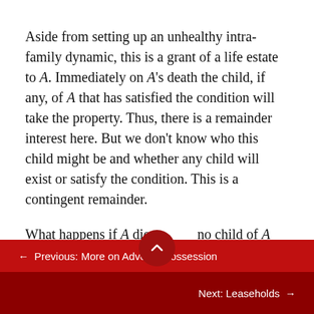Aside from setting up an unhealthy intra-family dynamic, this is a grant of a life estate to A. Immediately on A's death the child, if any, of A that has satisfied the condition will take the property. Thus, there is a remainder interest here. But we don't know who this child might be and whether any child will exist or satisfy the condition. This is a contingent remainder.
What happens if A dies and no child of A has graduated from law school? The answer is that the
← Previous: More on Adverse Possession
Next: Leaseholds →